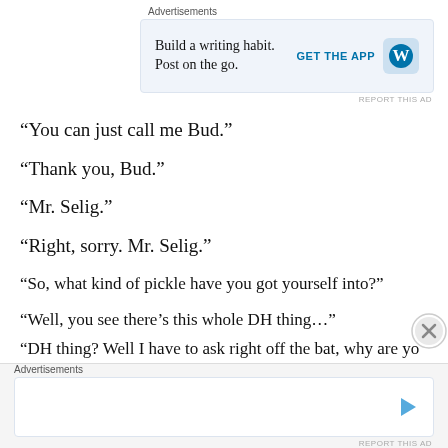[Figure (screenshot): Advertisement banner: 'Build a writing habit. Post on the go.' with GET THE APP button and WordPress logo]
“You can just call me Bud.”
“Thank you, Bud.”
“Mr. Selig.”
“Right, sorry. Mr. Selig.”
“So, what kind of pickle have you got yourself into?”
“Well, you see there’s this whole DH thing…”
“DH thing? Well I have to ask right off the bat, why are yo
[Figure (screenshot): Advertisement banner at bottom with play/video icon button]